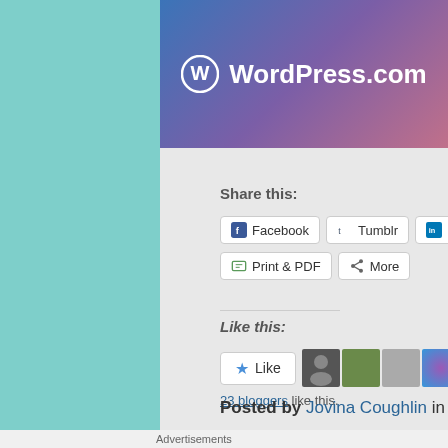[Figure (logo): WordPress.com logo with W circle icon on purple/blue gradient banner]
Share this:
Facebook | Tumblr | LinkedIn | Twitter | Pinterest | Print & PDF | More
Like this:
Like button with 23 bloggers like this.
Posted by Jovina Coughlin in Almond Paste, cho...
Advertisements